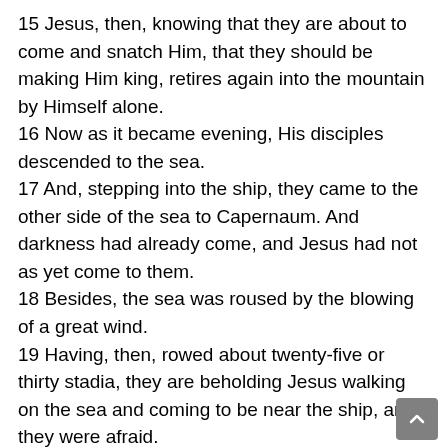15 Jesus, then, knowing that they are about to come and snatch Him, that they should be making Him king, retires again into the mountain by Himself alone. 16 Now as it became evening, His disciples descended to the sea. 17 And, stepping into the ship, they came to the other side of the sea to Capernaum. And darkness had already come, and Jesus had not as yet come to them. 18 Besides, the sea was roused by the blowing of a great wind. 19 Having, then, rowed about twenty-five or thirty stadia, they are beholding Jesus walking on the sea and coming to be near the ship, and they were afraid. 20 Yet He is saying to them, "It is I. Do not fear!" 21 They wanted, then, to take Him into the ship. And immediately the ship came to be at the land to which they went.